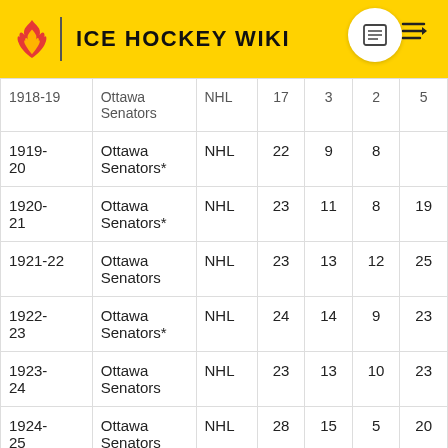ICE HOCKEY WIKI
| Season | Team | League | GP | G | A | Pts |
| --- | --- | --- | --- | --- | --- | --- |
| 1918-19 | Ottawa Senators | NHL | 17 | 3 | 2 | 5 |
| 1919-20 | Ottawa Senators* | NHL | 22 | 9 | 8 |  |
| 1920-21 | Ottawa Senators* | NHL | 23 | 11 | 8 | 19 |
| 1921-22 | Ottawa Senators | NHL | 23 | 13 | 12 | 25 |
| 1922-23 | Ottawa Senators* | NHL | 24 | 14 | 9 | 23 |
| 1923-24 | Ottawa Senators | NHL | 23 | 13 | 10 | 23 |
| 1924-25 | Ottawa Senators | NHL | 28 | 15 | 5 | 20 |